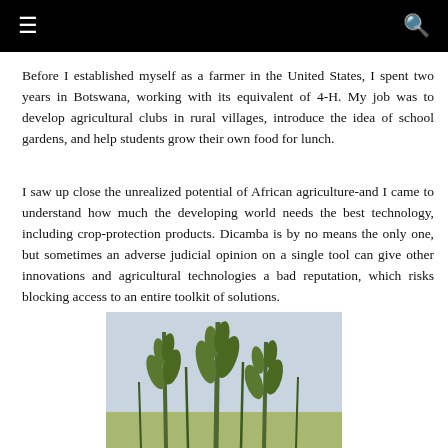≡  🔍
Before I established myself as a farmer in the United States, I spent two years in Botswana, working with its equivalent of 4-H. My job was to develop agricultural clubs in rural villages, introduce the idea of school gardens, and help students grow their own food for lunch.
I saw up close the unrealized potential of African agriculture-and I came to understand how much the developing world needs the best technology, including crop-protection products. Dicamba is by no means the only one, but sometimes an adverse judicial opinion on a single tool can give other innovations and agricultural technologies a bad reputation, which risks blocking access to an entire toolkit of solutions.
[Figure (photo): Photograph showing tall green plants (appears to be crops or large weeds/ferns) against a light sky background, cropped at bottom of page.]